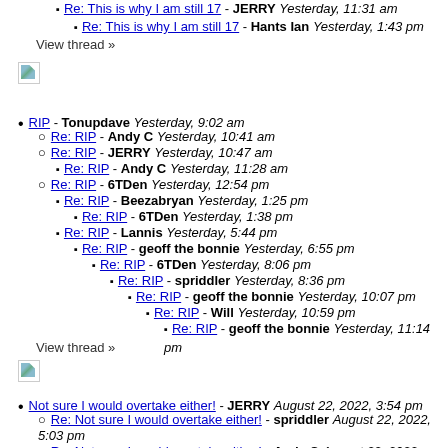Re: This is why I am still 17 - JERRY Yesterday, 11:31 am
Re: This is why I am still 17 - Hants Ian Yesterday, 1:43 pm
View thread »
[Figure (photo): Broken image placeholder]
RIP - Tonupdave Yesterday, 9:02 am
Re: RIP - Andy C Yesterday, 10:41 am
Re: RIP - JERRY Yesterday, 10:47 am
Re: RIP - Andy C Yesterday, 11:28 am
Re: RIP - 6TDen Yesterday, 12:54 pm
Re: RIP - Beezabryan Yesterday, 1:25 pm
Re: RIP - 6TDen Yesterday, 1:38 pm
Re: RIP - Lannis Yesterday, 5:44 pm
Re: RIP - geoff the bonnie Yesterday, 6:55 pm
Re: RIP - 6TDen Yesterday, 8:06 pm
Re: RIP - spriddler Yesterday, 8:36 pm
Re: RIP - geoff the bonnie Yesterday, 10:07 pm
Re: RIP - Will Yesterday, 10:59 pm
Re: RIP - geoff the bonnie Yesterday, 11:14 pm
View thread »
[Figure (photo): Broken image placeholder]
Not sure I would overtake either! - JERRY August 22, 2022, 3:54 pm
Re: Not sure I would overtake either! - spriddler August 22, 2022, 5:03 pm
Re: Not sure I would overtake either! - Andy C August 22, 2022, 8:41